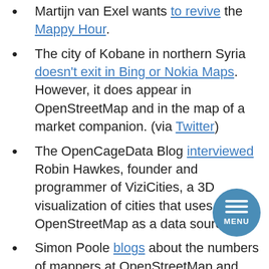Martijn van Exel wants to revive the Mappy Hour.
The city of Kobane in northern Syria doesn't exit in Bing or Nokia Maps. However, it does appear in OpenStreetMap and in the map of a market companion. (via Twitter)
The OpenCageData Blog interviewed Robin Hawkes, founder and programmer of ViziCities, a 3D visualization of cities that uses OpenStreetMap as a data source.
Simon Poole blogs about the numbers of mappers at OpenStreetMap and points out that August 2014 was the month with the second-highest increase in new mappers in the history of OSM.
A new MapRoulette Challenge to correct the TIGER import in USA is online.
User lxbarth talks about the first gathering of the Latin American OpenStreetMap community in